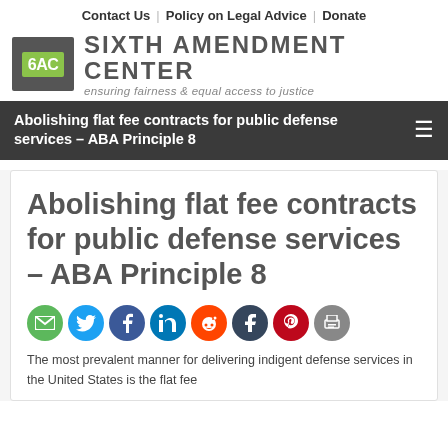Contact Us | Policy on Legal Advice | Donate
[Figure (logo): Sixth Amendment Center logo with 6AC green icon, heading SIXTH AMENDMENT CENTER, subheading: ensuring fairness & equal access to justice]
Abolishing flat fee contracts for public defense services – ABA Principle 8
Abolishing flat fee contracts for public defense services – ABA Principle 8
[Figure (infographic): Row of social share icons: email (green), twitter (blue), facebook (dark blue), linkedin (blue), reddit (orange-red), tumblr (dark blue), pinterest (red), print (grey)]
The most prevalent manner for delivering indigent defense services in the United States is the flat fee contract; the below is a primer on how all...